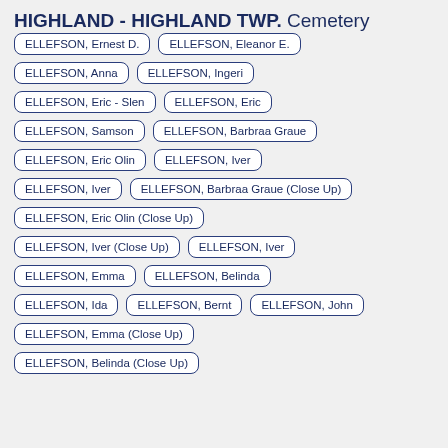HIGHLAND - HIGHLAND TWP. Cemetery
ELLEFSON, Ernest D.
ELLEFSON, Eleanor E.
ELLEFSON, Anna
ELLEFSON, Ingeri
ELLEFSON, Eric - Slen
ELLEFSON, Eric
ELLEFSON, Samson
ELLEFSON, Barbraa Graue
ELLEFSON, Eric Olin
ELLEFSON, Iver
ELLEFSON, Iver
ELLEFSON, Barbraa Graue (Close Up)
ELLEFSON, Eric Olin (Close Up)
ELLEFSON, Iver (Close Up)
ELLEFSON, Iver
ELLEFSON, Emma
ELLEFSON, Belinda
ELLEFSON, Ida
ELLEFSON, Bernt
ELLEFSON, John
ELLEFSON, Emma (Close Up)
ELLEFSON, Belinda (Close Up)